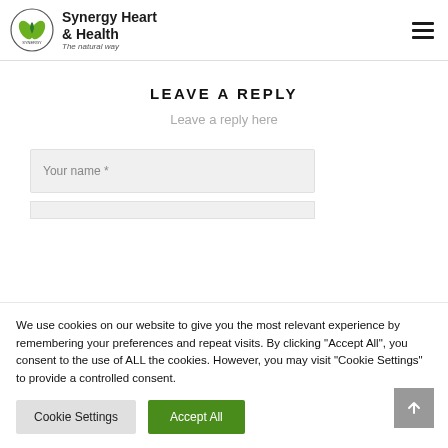Synergy Heart & Health — The natural way
LEAVE A REPLY
Leave a reply here
Your name *
We use cookies on our website to give you the most relevant experience by remembering your preferences and repeat visits. By clicking "Accept All", you consent to the use of ALL the cookies. However, you may visit "Cookie Settings" to provide a controlled consent.
Cookie Settings
Accept All